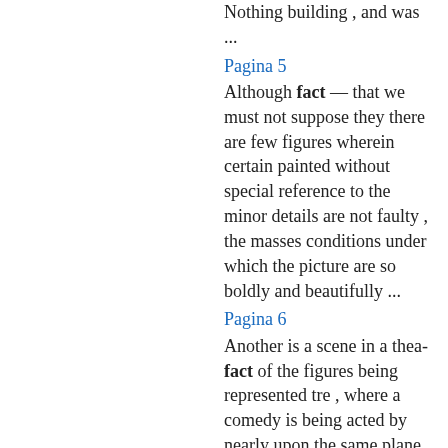Nothing building , and was ...
Pagina 5
Although fact — that we must not suppose they there are few figures wherein certain painted without special reference to the minor details are not faulty , the masses conditions under which the picture are so boldly and beautifully ...
Pagina 6
Another is a scene in a thea- fact of the figures being represented tre , where a comedy is being acted by nearly upon the same plane , might be performers in masks . Another is a four- converted into bas - reliefs